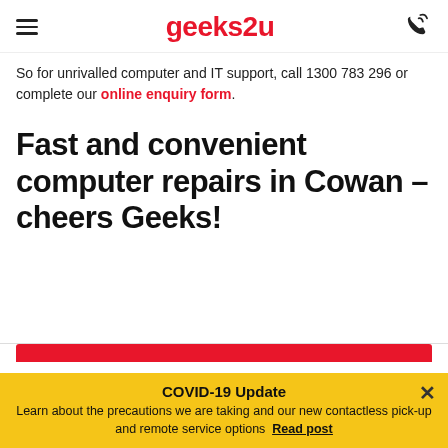geeks2u
So for unrivalled computer and IT support, call 1300 783 296 or complete our online enquiry form.
Fast and convenient computer repairs in Cowan – cheers Geeks!
COVID-19 Update
Learn about the precautions we are taking and our new contactless pick-up and remote service options  Read post